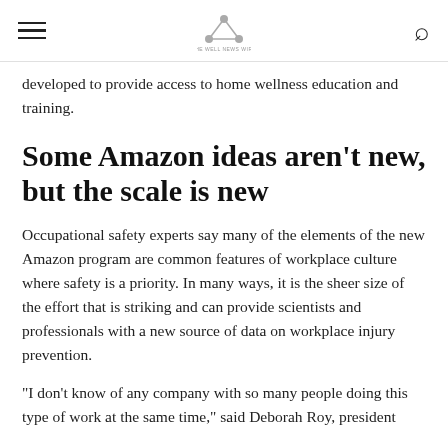[hamburger menu] [logo] [search icon]
developed to provide access to home wellness education and training.
Some Amazon ideas aren't new, but the scale is new
Occupational safety experts say many of the elements of the new Amazon program are common features of workplace culture where safety is a priority. In many ways, it is the sheer size of the effort that is striking and can provide scientists and professionals with a new source of data on workplace injury prevention.
“I don’t know of any company with so many people doing this type of work at the same time,” said Deborah Roy, president